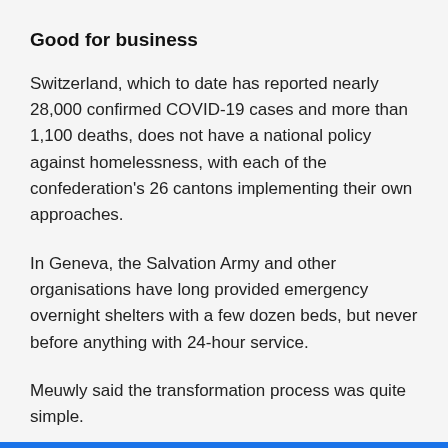Good for business
Switzerland, which to date has reported nearly 28,000 confirmed COVID-19 cases and more than 1,100 deaths, does not have a national policy against homelessness, with each of the confederation's 26 cantons implementing their own approaches.
In Geneva, the Salvation Army and other organisations have long provided emergency overnight shelters with a few dozen beds, but never before anything with 24-hour service.
Meuwly said the transformation process was quite simple.
The hotel's regular staff were all placed on temporary unemployment, and a team of social